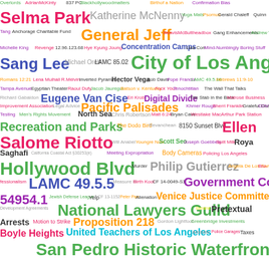[Figure (infographic): Word cloud containing terms related to Los Angeles government, community organizations, legal references, and public figures. Words vary in size, color, and position to indicate frequency or importance.]